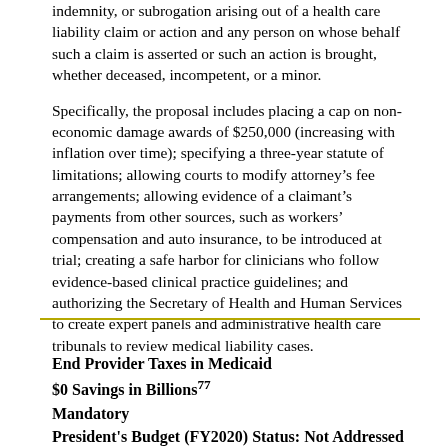indemnity, or subrogation arising out of a health care liability claim or action and any person on whose behalf such a claim is asserted or such an action is brought, whether deceased, incompetent, or a minor.
Specifically, the proposal includes placing a cap on non-economic damage awards of $250,000 (increasing with inflation over time); specifying a three-year statute of limitations; allowing courts to modify attorney’s fee arrangements; allowing evidence of a claimant’s payments from other sources, such as workers’ compensation and auto insurance, to be introduced at trial; creating a safe harbor for clinicians who follow evidence-based clinical practice guidelines; and authorizing the Secretary of Health and Human Services to create expert panels and administrative health care tribunals to review medical liability cases.
End Provider Taxes in Medicaid
$0 Savings in Billions77
Mandatory
President's Budget (FY2020) Status: Not Addressed